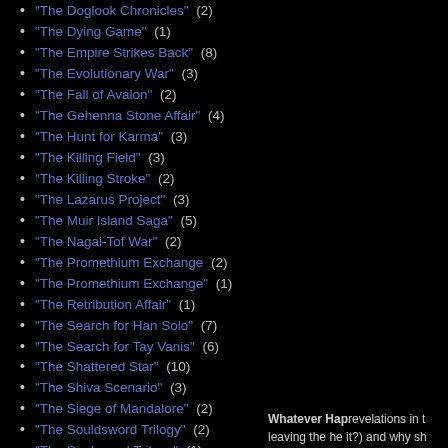"The Doglook Chronicles" (2)
"The Dying Game" (1)
"The Empire Strikes Back" (8)
"The Evolutionary War" (3)
"The Fall of Avalon" (2)
"The Gehenna Stone Affair" (4)
"The Hunt for Karma" (3)
"The Killing Field" (3)
"The Killing Stroke" (2)
"The Lazarus Project" (3)
"The Muir Island Saga" (5)
"The Nagai-Tof War" (2)
"The Promethium Exchange (2)
"The Promethium Exchange" (1)
"The Retribution Affair" (1)
"The Search for Han Solo" (7)
"The Search for Tay Vanis" (6)
"The Shattered Star" (10)
"The Shiva Scenario" (3)
"The Siege of Mandalore" (2)
"The Souldsword Trilogy" (2)
"The Soulsword Trilogy" (1)
"The Tof-Nagai War" (7)
Whatever Hap revelations in t leaving the he it?) and why sh leaving Aaron. happened tha was one of Ev